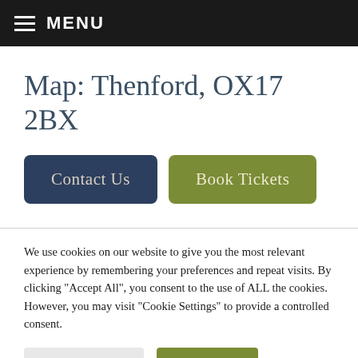MENU
Map: Thenford, OX17 2BX
Contact Us
Book Tickets
We use cookies on our website to give you the most relevant experience by remembering your preferences and repeat visits. By clicking "Accept All", you consent to the use of ALL the cookies. However, you may visit "Cookie Settings" to provide a controlled consent.
Cookie Settings
Accept All